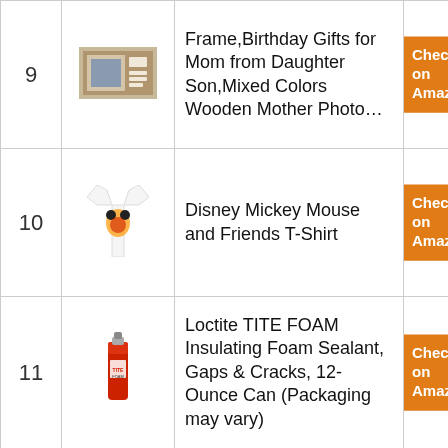| # | Image | Product | Link |
| --- | --- | --- | --- |
| 9 | [photo frame image] | Frame,Birthday Gifts for Mom from Daughter Son,Mixed Colors Wooden Mother Photo… | Check on Amazon |
| 10 | [Mickey Mouse t-shirt image] | Disney Mickey Mouse and Friends T-Shirt | Check on Amazon |
| 11 | [Loctite foam can image] | Loctite TITE FOAM Insulating Foam Sealant, Gaps & Cracks, 12-Ounce Can (Packaging may vary) | Check on Amazon |